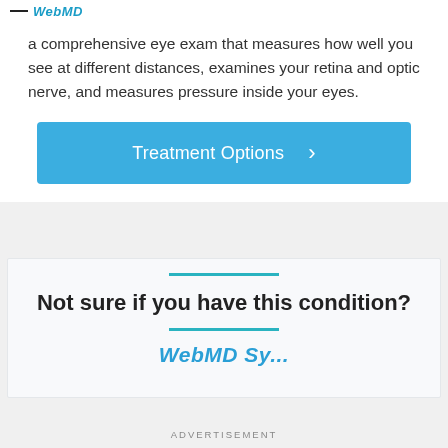WebMD
a comprehensive eye exam that measures how well you see at different distances, examines your retina and optic nerve, and measures pressure inside your eyes.
[Figure (other): Blue 'Treatment Options' button with right chevron arrow]
Not sure if you have this condition?
WebMD Symptom Checker
ADVERTISEMENT